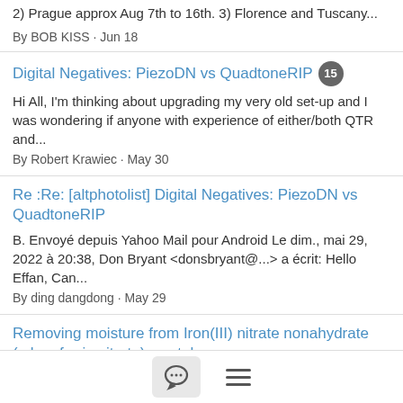2) Prague approx Aug 7th to 16th. 3) Florence and Tuscany...
By BOB KISS · Jun 18
Digital Negatives: PiezoDN vs QuadtoneRIP 15
Hi All, I'm thinking about upgrading my very old set-up and I was wondering if anyone with experience of either/both QTR and...
By Robert Krawiec · May 30
Re :Re: [altphotolist] Digital Negatives: PiezoDN vs QuadtoneRIP
B. Envoyé depuis Yahoo Mail pour Android Le dim., mai 29, 2022 à 20:38, Don Bryant <donsbryant@...> a écrit: Hello Effan, Can...
By ding dangdong · May 29
Removing moisture from Iron(III) nitrate nonahydrate (a.k.a. ferric nitrate) crystals 20
I purchased two containers of Ferric Nitrate from Photographer's formulary in February. Both containers are still sealed, but I can...
By John Isner · May 23
[Figure (other): Bottom navigation bar with a chat/message icon button and a hamburger menu icon]